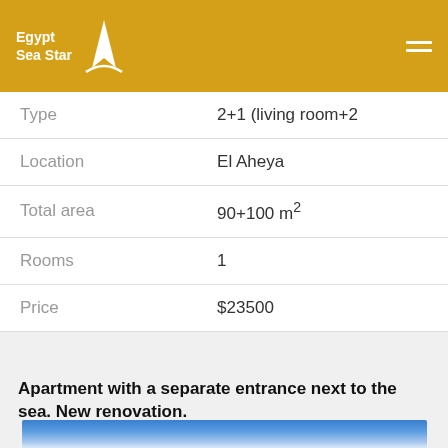Egypt Sea Star
| Field | Value |
| --- | --- |
| Type | 2+1 (living room+2 |
| Location | El Aheya |
| Total area | 90+100 m² |
| Rooms | 1 |
| Price | $23500 |
Apartment with a separate entrance next to the sea. New renovation.
[Figure (photo): Blue sky photo, gradient from bright blue at top to light/white near horizon]